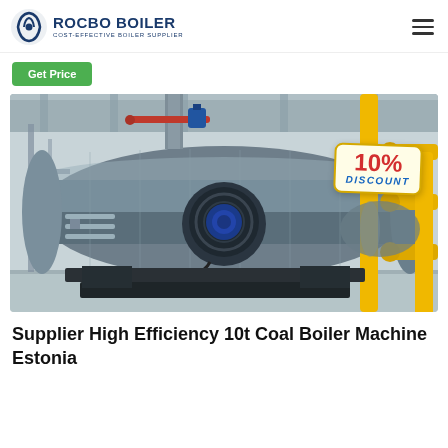ROCBO BOILER - COST-EFFECTIVE BOILER SUPPLIER
[Figure (photo): Industrial gas/oil fired boiler in a factory setting, with yellow gas pipes on the right and a 10% DISCOUNT badge overlaid in the upper right corner]
Supplier High Efficiency 10t Coal Boiler Machine Estonia